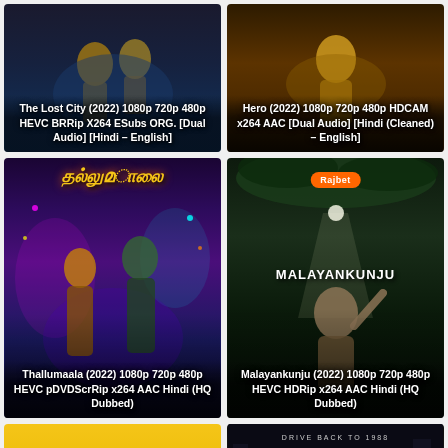[Figure (photo): Movie poster card for The Lost City (2022) with dark blue background]
The Lost City (2022) 1080p 720p 480p HEVC BRRip X264 ESubs ORG. [Dual Audio] [Hindi – English]
[Figure (photo): Movie poster card for Hero (2022) with dark orange/brown background]
Hero (2022) 1080p 720p 480p HDCAM x264 AAC [Dual Audio] [Hindi (Cleaned) – English]
[Figure (photo): Movie poster card for Thallumaala (2022) with vibrant neon purple/blue background showing two characters]
Thallumaala (2022) 1080p 720p 480p HEVC pDVDScrRip x264 AAC Hindi (HQ Dubbed)
[Figure (photo): Movie poster card for Malayankunju (2022) with dark green/black background, Rajbet badge, and actor raising hand]
Malayankunju (2022) 1080p 720p 480p HEVC HDRip x264 AAC Hindi (HQ Dubbed)
[Figure (photo): Movie poster card with yellow/gold background, partial view]
[Figure (photo): Movie poster card for Seoul (Drive Back to 1988) with dark background and large white SEOUL text]